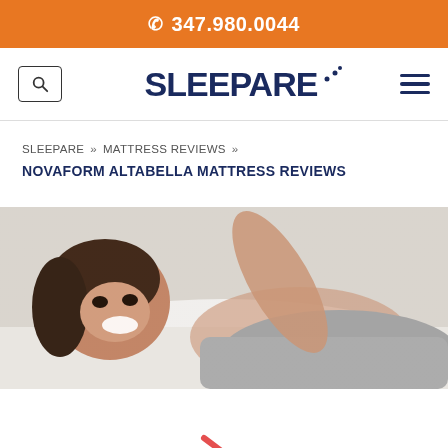347.980.0044
[Figure (logo): SLEEPARE logo with stylized dots, search icon and hamburger menu]
SLEEPARE » MATTRESS REVIEWS »
NOVAFORM ALTABELLA MATTRESS REVIEWS
[Figure (photo): Woman smiling while lying on a white mattress/bed, wearing a grey top]